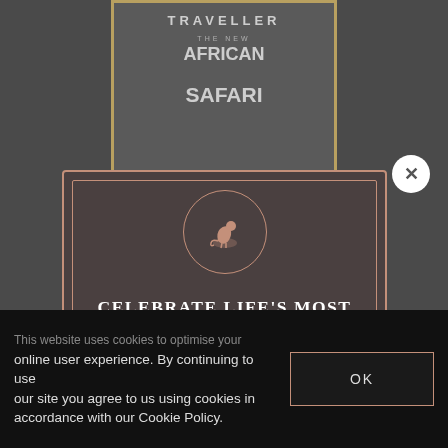[Figure (screenshot): Website screenshot showing a safari popup modal over a blurred magazine background. The modal has a dark brownish-gray background with rose-gold border, a circular logo with a cheetah silhouette, large uppercase heading text, subtext about South African resident rates, and an Enquire Now button. A cookie consent bar appears at the bottom.]
CELEBRATE LIFE'S MOST IMPORTANT MOMENTS. BOOK YOUR SAFARI WITH US.
Rates available for South African residents.
ENQUIRE NOW
This website uses cookies to optimise your online user experience. By continuing to use our site you agree to us using cookies in accordance with our Cookie Policy.
OK